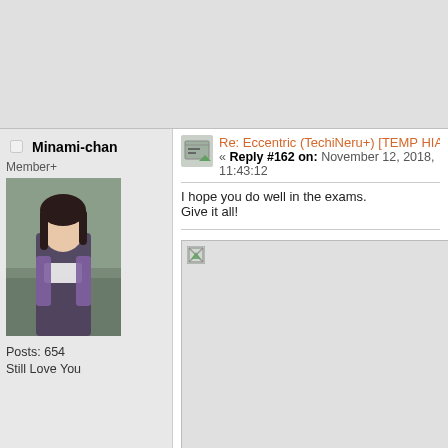Minami-chan
Member+
[Figure (photo): Avatar photo of Minami-chan, a young woman with dark hair]
Posts: 654
Still Love You
Re: Eccentric (TechiNeru+) [TEMP HIATUS (p
« Reply #162 on: November 12, 2018, 11:43:12
I hope you do well in the exams.
Give it all!
[Figure (photo): Broken/missing image placeholder]
Shinoki
REVOLUTION
Member+
Eccentric (TechiNeru, Yuichanzu+) [Checkpoi
« Reply #163 on: January 02, 2019, 04:07:42 A
Happy New Year! I'm alive! And I'm very sorry for the lo